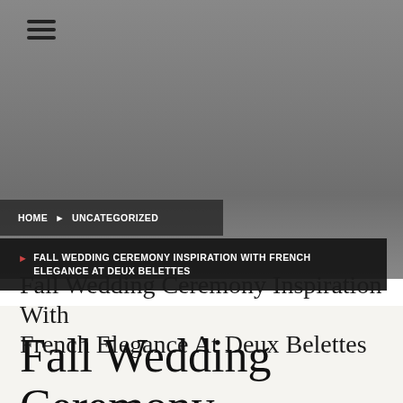[Figure (photo): Dark grey/charcoal hero background image covering the top portion of the page]
☰ (hamburger menu icon)
HOME ▶ UNCATEGORIZED
▶ FALL WEDDING CEREMONY INSPIRATION WITH FRENCH ELEGANCE AT DEUX BELETTES
Fall Wedding Ceremony Inspiration With French Elegance At Deux Belettes
Fall Wedding Ceremony Inspiration